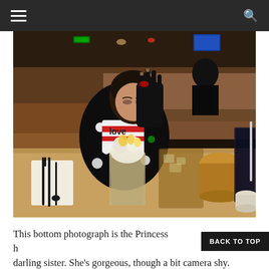Navigation header with hamburger menu and search icon
[Figure (photo): A young girl sitting at a restaurant table, looking down and covering her face with her hand (camera shy). She is wearing a black jacket with colorful polka dots over a white and red striped top. On the table in front of her are drinks including an ice cream sundae glass, a large iced tea, and a dark soda with a straw, plus cutlery on a napkin. The restaurant interior is visible in the background with dim lighting.]
This bottom photograph is the Princess h... darling sister. She's gorgeous, though a bit camera shy.